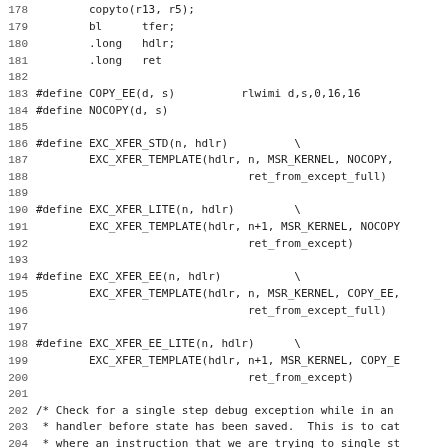Source code listing lines 178-210, assembly/C macros for exception transfer handlers and a comment block about single step debug exceptions.